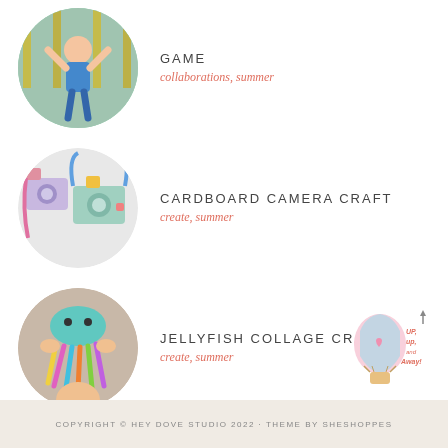GAME
collaborations, summer
CARDBOARD CAMERA CRAFT
create, summer
JELLYFISH COLLAGE CRAFT
create, summer
[Figure (illustration): Hot air balloon illustration with text 'up, up, and Away!' and an arrow pointing upward]
COPYRIGHT © HEY DOVE STUDIO 2022 · THEME BY SHESHOPPES